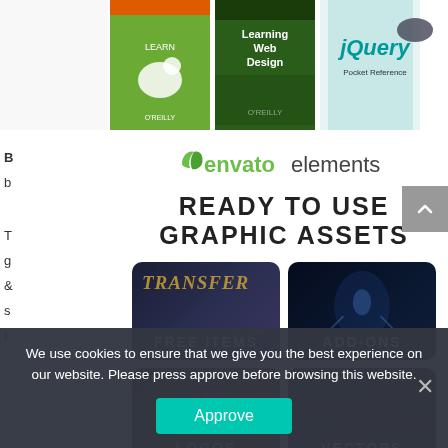[Figure (screenshot): Top strip showing four book covers: O'Reilly animal book (green), Learning Web Design (green foliage), jQuery Pocket Reference, and Learning jQuery Third Edition]
[Figure (logo): Envato Elements logo with green leaf icon and text 'envatoelements']
READY TO USE GRAPHIC ASSETS
[Figure (infographic): Four category tiles: FREE ITEMS (dark blue with Transfer script text), ADD-ONS (dark blue with glowing figure), LOGOS (dark brown with emblem), VECTORS (dark red with wave patterns)]
We use cookies to ensure that we give you the best experience on our website. Please press approve before browsing this website.
Approve